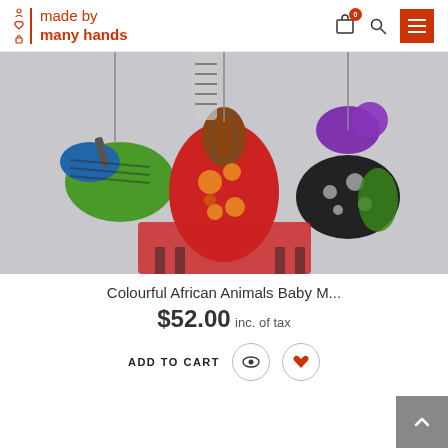made by many hands — header with cart, search, and menu
[Figure (photo): Three colourful fabric animal toys (a zebra, a giraffe, and an elephant) hanging from strings against a light grey background. The animals are made from African print fabric in bright greens, blues, reds, and blacks, with one having a purple yarn mane.]
Colourful African Animals Baby M...
$52.00 inc. of tax
ADD TO CART